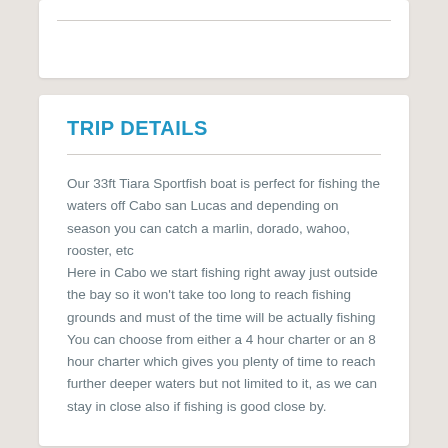TRIP DETAILS
Our 33ft Tiara Sportfish boat is perfect for fishing the waters off Cabo san Lucas and depending on season you can catch a marlin, dorado, wahoo, rooster, etc
Here in Cabo we start fishing right away just outside the bay so it won't take too long to reach fishing grounds and must of the time will be actually fishing
You can choose from either a 4 hour charter or an 8 hour charter which gives you plenty of time to reach further deeper waters but not limited to it, as we can stay in close also if fishing is good close by.